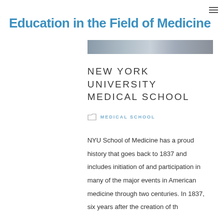≡
Education in the Field of Medicine
[Figure (photo): Grayscale hero image banner, partial view of a medical or institutional scene]
NEW YORK UNIVERSITY MEDICAL SCHOOL
MEDICAL SCHOOL
NYU School of Medicine has a proud history that goes back to 1837 and includes initiation of and participation in many of the major events in American medicine through two centuries. In 1837, six years after the creation of th